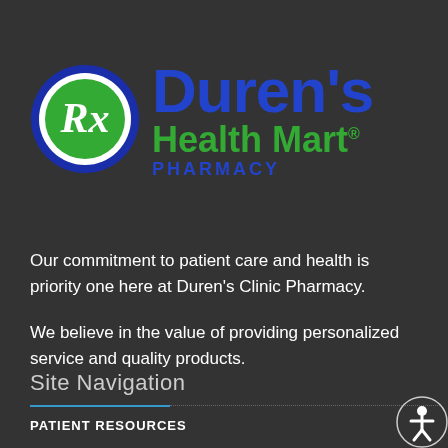[Figure (logo): Duren's Health Mart Pharmacy logo with Rx circle on left and brand name text on right]
Our commitment to patient care and health is priority one here at Duren's Clinic Pharmacy.
We believe in the value of providing personalized service and quality products.
Site Navigation
PATIENT RESOURCES